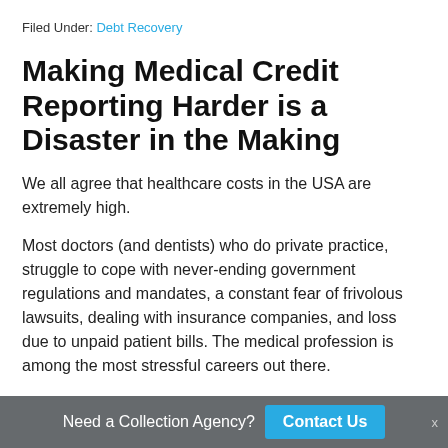Filed Under: Debt Recovery
Making Medical Credit Reporting Harder is a Disaster in the Making
We all agree that healthcare costs in the USA are extremely high.
Most doctors (and dentists) who do private practice, struggle to cope with never-ending government regulations and mandates, a constant fear of frivolous lawsuits, dealing with insurance companies, and loss due to unpaid patient bills. The medical profession is among the most stressful careers out there.
Need a Collection Agency? Contact Us